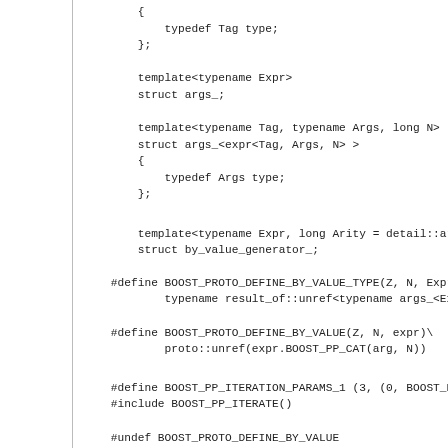C++ source code snippet showing template structs and preprocessor macros for Boost.Proto library including typedef Tag type, struct args_, template specializations, BOOST_PROTO_DEFINE_BY_VALUE_TYPE, BOOST_PROTO_DEFINE_BY_VALUE, BOOST_PP_ITERATION_PARAMS_1, include/undef directives, and namespace generatorns_ with struct default_generator.